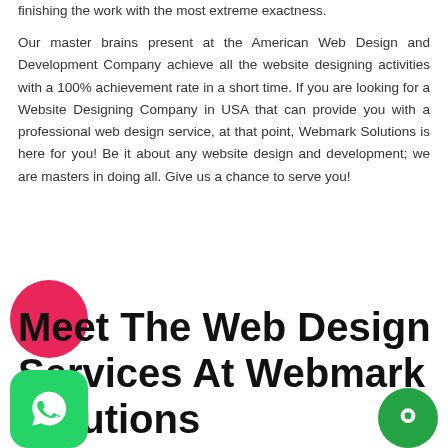finishing the work with the most extreme exactness.
Our master brains present at the American Web Design and Development Company achieve all the website designing activities with a 100% achievement rate in a short time. If you are looking for a Website Designing Company in USA that can provide you with a professional web design service, at that point, Webmark Solutions is here for you! Be it about any website design and development; we are masters in doing all. Give us a chance to serve you!
Meet The Web Design Services At Webmark Solutions